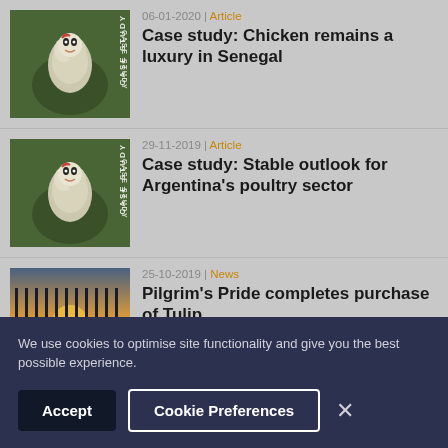06-01-2020 | Article
Case study: Chicken remains a luxury in Senegal
29-11-2019 | Article
Case study: Stable outlook for Argentina's poultry sector
25-10-2019 | News
Pilgrim's Pride completes purchase of Tulip
We use cookies to optimise site functionality and give you the best possible experience.
Accept
Cookie Preferences
×